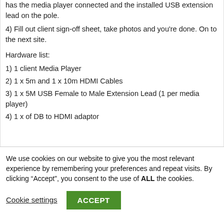has the media player connected and the installed USB extension lead on the pole.
4) Fill out client sign-off sheet, take photos and you're done. On to the next site.
Hardware list:
1) 1 client Media Player
2) 1 x 5m and 1 x 10m HDMI Cables
3) 1 x 5M USB Female to Male Extension Lead (1 per media player)
4) 1 x of DB to HDMI adaptor
We use cookies on our website to give you the most relevant experience by remembering your preferences and repeat visits. By clicking “Accept”, you consent to the use of ALL the cookies.
Cookie settings
ACCEPT